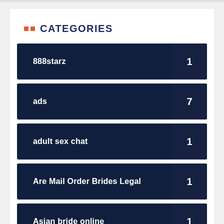CATEGORIES
888starz  1
ads  7
adult sex chat  1
Are Mail Order Brides Legal  1
Asian bride online  1